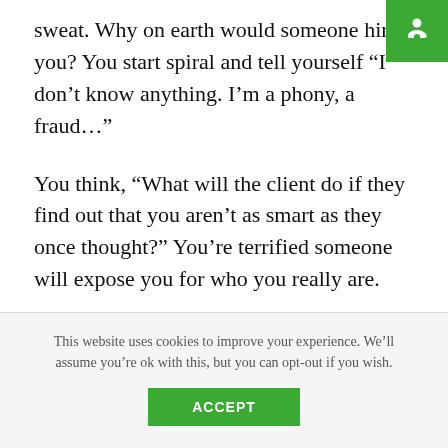sweat. Why on earth would someone hire you? You start spiral and tell yourself “I don’t know anything. I’m a phony, a fraud…”
You think, “What will the client do if they find out that you aren’t as smart as they once thought?” You’re terrified someone will expose you for who you really are.
Sound familiar?
Apparently, this feeling is common. It even has a name —
This website uses cookies to improve your experience. We’ll assume you’re ok with this, but you can opt-out if you wish.
ACCEPT